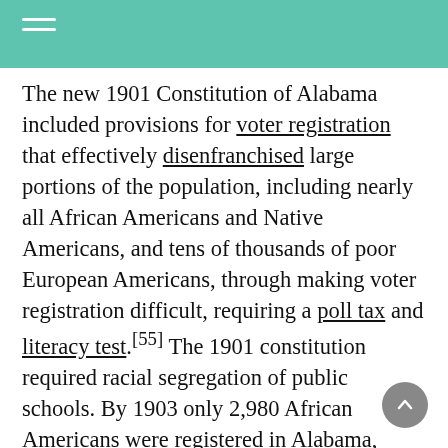The new 1901 Constitution of Alabama included provisions for voter registration that effectively disenfranchised large portions of the population, including nearly all African Americans and Native Americans, and tens of thousands of poor European Americans, through making voter registration difficult, requiring a poll tax and literacy test.[55] The 1901 constitution required racial segregation of public schools. By 1903 only 2,980 African Americans were registered in Alabama, although at least 74,000 were literate. This compared to more